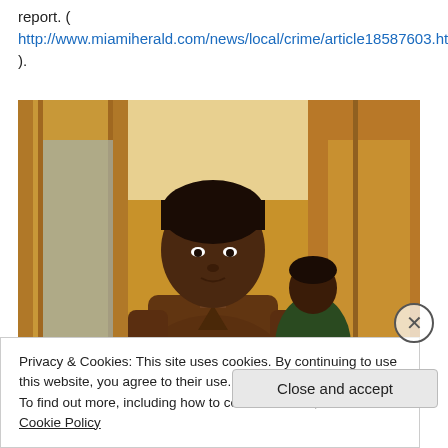report. ( http://www.miamiherald.com/news/local/crime/article18587603.html ).
[Figure (photo): A young man in a brown shirt standing in what appears to be a courtroom with wood-paneled walls, another person visible behind him.]
Privacy & Cookies: This site uses cookies. By continuing to use this website, you agree to their use. To find out more, including how to control cookies, see here: Cookie Policy